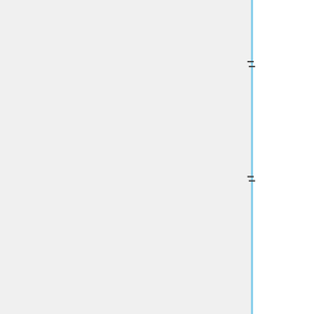[[File:plot_dx9_LFI_BS_CMB.png | 600px | thumb | |center |Beam Window functions, Wl, for LFI channels]]
[[File:plot_dx9_HFI_BS_M12_CMB.png | 600px | thumb | |center |Beam Window functions, Wl, for HFI channels]]